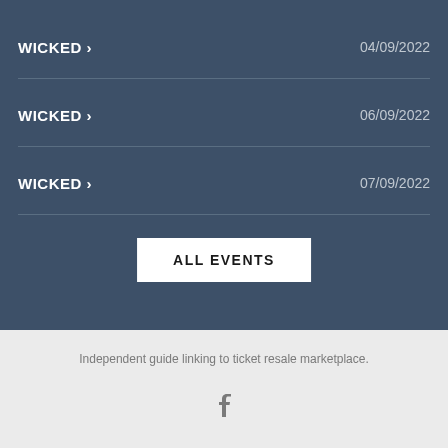WICKED > 04/09/2022
WICKED > 06/09/2022
WICKED > 07/09/2022
ALL EVENTS
Independent guide linking to ticket resale marketplace.